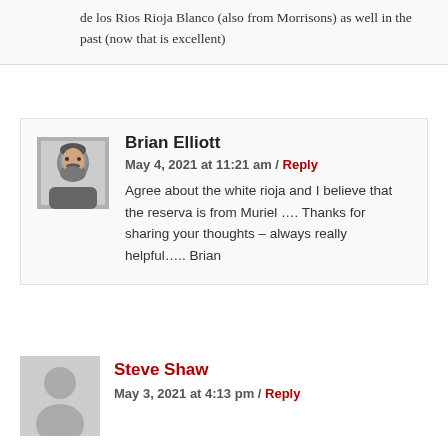de los Rios Rioja Blanco (also from Morrisons) as well in the past (now that is excellent)
[Figure (photo): Black and white avatar photo of Brian Elliott, a bearded man]
Brian Elliott
May 4, 2021 at 11:21 am / Reply
Agree about the white rioja and I believe that the reserva is from Muriel …. Thanks for sharing your thoughts – always really helpful….. Brian
[Figure (illustration): Generic grey silhouette avatar placeholder for Steve Shaw]
Steve Shaw
May 3, 2021 at 4:13 pm / Reply